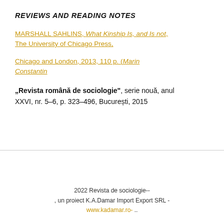REVIEWS AND READING NOTES
MARSHALL SAHLINS, What Kinship Is, and Is not, The University of Chicago Press,
Chicago and London, 2013, 110 p. (Marin Constantin
„Revista română de sociologie", serie nouă, anul XXVI, nr. 5–6, p. 323–496, București, 2015
2022 Revista de sociologie-- , un proiect K.A.Damar Import Export SRL - www.kadamar.ro- ..